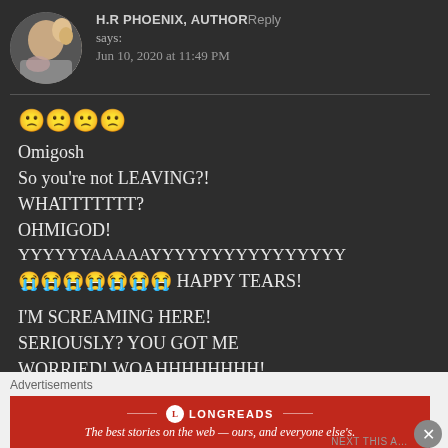H.R PHOENIX, AUTHOR Reply says: Jun 10, 2020 at 11:49 PM
🙁🙁🙁🙁
Omigosh
So you're not LEAVING?!
WHATTTTTTT?
OHMIGOD!
YYYYYYAAAAAYYYYYYYYYYYYYYYYY
😭😭😭😭😭😭😭 HAPPY TEARS!

I'M SCREAMING HERE!
SERIOUSLY? YOU GOT ME WORRIED! WOAHHHHHHHH!
[Figure (other): Longreads advertisement banner: red background, logo and tagline 'The best stories on the web — ours, and everyone else's.']